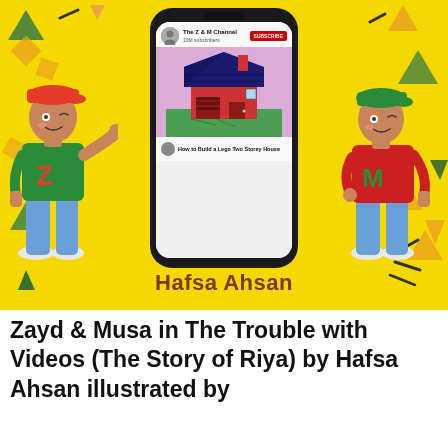[Figure (illustration): Book cover on yellow background showing two cartoon boys (one with Z on shirt, one with M on shirt) standing on either side of a smartphone mockup displaying a YouTube channel 'The Z & M Channel' with 10M subscribers and a video 'How to Build a Lego Two Storey House'. Author name 'Hafsa Ahsan' at bottom of cover. Colorful triangles and shapes as decorative elements.]
Zayd & Musa in The Trouble with Videos (The Story of Riya) by Hafsa Ahsan illustrated by